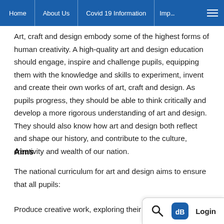Home | About Us | Covid 19 Information | Imp...
Art, craft and design embody some of the highest forms of human creativity. A high-quality art and design education should engage, inspire and challenge pupils, equipping them with the knowledge and skills to experiment, invent and create their own works of art, craft and design. As pupils progress, they should be able to think critically and develop a more rigorous understanding of art and design. They should also know how art and design both reflect and shape our history, and contribute to the culture, creativity and wealth of our nation.
Aims
The national curriculum for art and design aims to ensure that all pupils:
Produce creative work, exploring their id...